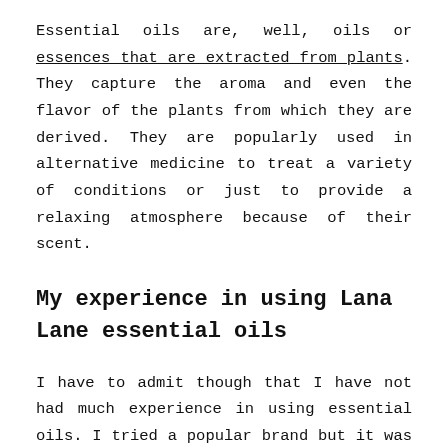Essential oils are, well, oils or essences that are extracted from plants. They capture the aroma and even the flavor of the plants from which they are derived. They are popularly used in alternative medicine to treat a variety of conditions or just to provide a relaxing atmosphere because of their scent.
My experience in using Lana Lane essential oils
I have to admit though that I have not had much experience in using essential oils. I tried a popular brand but it was only when a friend had me sniff a blend when she was convincing me to buy essential